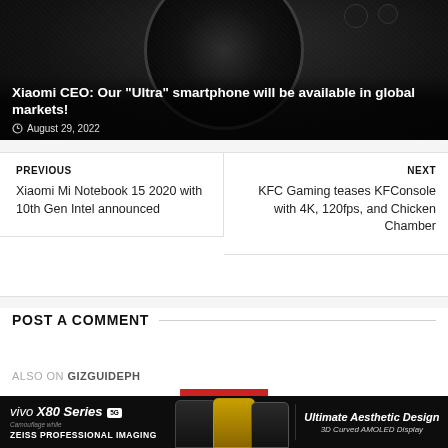[Figure (photo): Dark close-up photo of a Xiaomi smartphone camera module with large circular lens, gold ring detail, on black textured back. Overlaid with article title and date.]
Xiaomi CEO: Our "Ultra" smartphone will be available in global markets!
August 29, 2022
PREVIOUS
Xiaomi Mi Notebook 15 2020 with 10th Gen Intel announced
NEXT
KFC Gaming teases KFConsole with 4K, 120fps, and Chicken Chamber
POST A COMMENT
ALSO ON GIZGUIDEPH
[Figure (other): Red CLOSE button with X icon]
[Figure (other): Advertisement banner for vivo X80 Series 5G with ZEISS Professional Imaging and Ultimate Aesthetic Design, 3D Curved AMOLED Display]